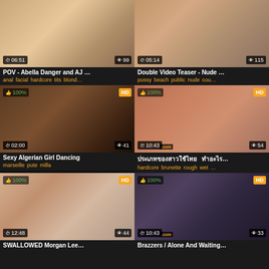[Figure (screenshot): Video thumbnail grid showing adult video website with 6 video cards arranged in 2 columns]
POV - Abella Danger and AJ ...
anal facial hardcore tits blond...
Double Video Teaser - Nude ...
pussy beach public nude cou...
Sexy Algerian Girl Dancing
marseille pute milla
ประเภทของสาวใช้ไทย   ทำอะไร...
hardcore brunette rough wet ...
SWALLOWED Morgan Lee...
Brazzers / Alone And Waiting...